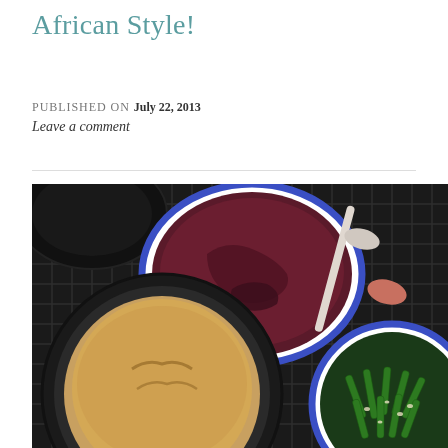African Style!
PUBLISHED ON July 22, 2013
Leave a comment
[Figure (photo): Overhead view of African-style meal on a wire rack: a large bowl of dark reddish-purple stew/sauce with a spoon, a round cast-iron pot with golden bread/cornbread, and a blue-rimmed bowl with green vegetables (broccoli/green beans). Dark, moody background.]